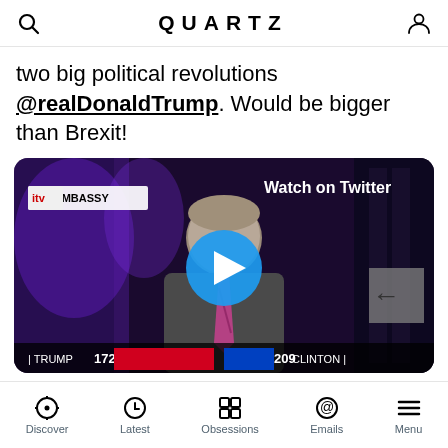QUARTZ
two big political revolutions @realDonaldTrump. Would be bigger than Brexit!
[Figure (screenshot): Embedded Twitter video thumbnail showing a man in a suit with a striped tie being interviewed outside the US Embassy, with a lower-third graphic showing TRUMP 172 and CLINTON 209. A blue play button overlay and 'Watch on Twitter' label appear on the video.]
4:21 AM · Nov 9, 2016
♥ 5.1K   Reply   Copy link
Discover   Latest   Obsessions   Emails   Menu